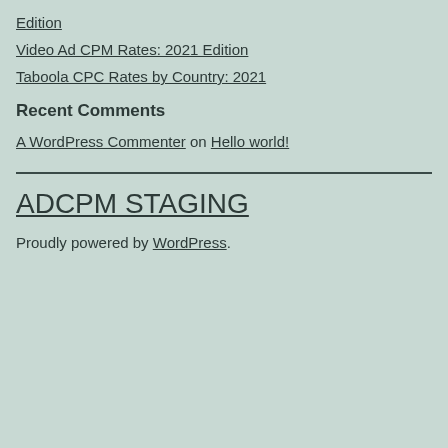Edition
Video Ad CPM Rates: 2021 Edition
Taboola CPC Rates by Country: 2021
Recent Comments
A WordPress Commenter on Hello world!
ADCPM STAGING
Proudly powered by WordPress.